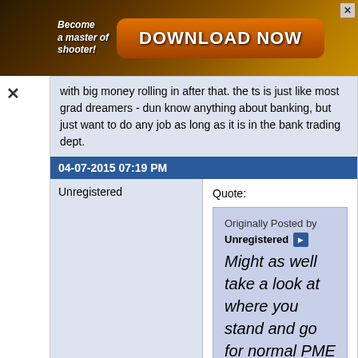[Figure (screenshot): Advertisement banner with 'Become a master of shooter!' text and orange 'DOWNLOAD NOW' button on dark golden background with game graphics and X close button]
with big money rolling in after that. the ts is just like most grad dreamers - dun know anything about banking, but just want to do any job as long as it is in the bank trading dept.
04-07-2015 07:19 PM
Unregistered
Quote:
Originally Posted by Unregistered Might as well take a look at where you stand and go for normal PME jobs within & outside banking. Pay and career progression is decent enough for you to live on anyway.
quote for truth. I always wonder why grads limit themselves to finance industry. there are many other opportunities outside of finance.
26-06-2015 12:07 PM
bookwormm
Quote: